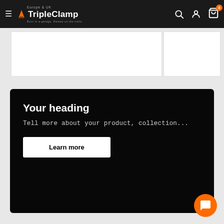TripleClamp Europe & UK — Born in a garage. Raised on the trails.
[Figure (screenshot): White content cards partially visible in product listing area]
Your heading
Tell more about your product, collection...
Learn more